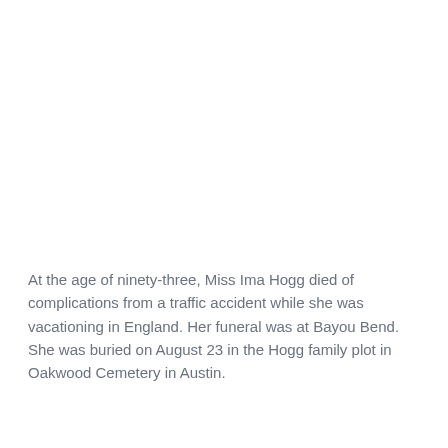At the age of ninety-three, Miss Ima Hogg died of complications from a traffic accident while she was vacationing in England. Her funeral was at Bayou Bend. She was buried on August 23 in the Hogg family plot in Oakwood Cemetery in Austin.